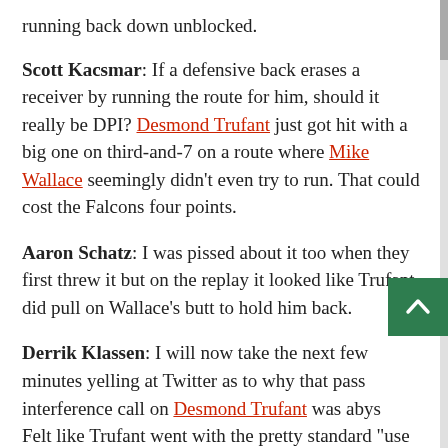running back down unblocked.
Scott Kacsmar: If a defensive back erases a receiver by running the route for him, should it really be DPI? Desmond Trufant just got hit with a big one on third-and-7 on a route where Mike Wallace seemingly didn't even try to run. That could cost the Falcons four points.
Aaron Schatz: I was pissed about it too when they first threw it but on the replay it looked like Trufant did pull on Wallace's butt to hold him back.
Derrik Klassen: I will now take the next few minutes yelling at Twitter as to why that pass interference call on Desmond Trufant was abys... Felt like Trufant went with the pretty standard "use the receiver as balance, but don't destroy him" dive to get out in front of the play.